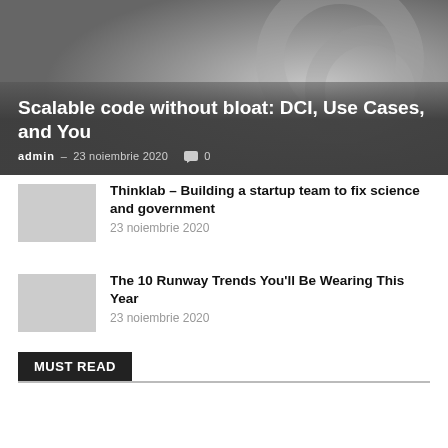[Figure (photo): Hero image with dark gradient overlay showing a decorative background]
Scalable code without bloat: DCI, Use Cases, and You
admin – 23 noiembrie 2020  💬 0
[Figure (photo): Thumbnail image placeholder]
Thinklab – Building a startup team to fix science and government
23 noiembrie 2020
[Figure (photo): Thumbnail image placeholder]
The 10 Runway Trends You'll Be Wearing This Year
23 noiembrie 2020
MUST READ
Health star ratings Kellogg reveals the cereal
admin – 23 noiembrie 2020  0